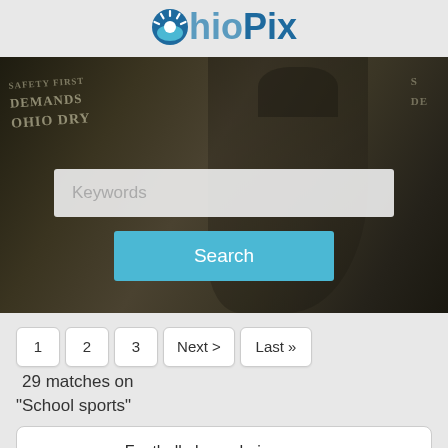OhioPix
[Figure (photo): Vintage black and white photograph of women holding protest signs, one sign reads 'DEMANDS OHIO DRY', used as hero/banner image for OhioPix website]
Keywords
Search
1  2  3  Next >  Last »  29 matches on
"School sports"
Football player during game